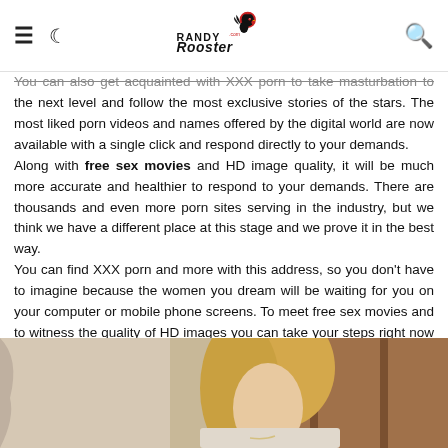Randy Rooster
You can also get acquainted with XXX porn to take masturbation to the next level and follow the most exclusive stories of the stars. The most liked porn videos and names offered by the digital world are now available with a single click and respond directly to your demands.
Along with free sex movies and HD image quality, it will be much more accurate and healthier to respond to your demands. There are thousands and even more porn sites serving in the industry, but we think we have a different place at this stage and we prove it in the best way.
You can find XXX porn and more with this address, so you don't have to imagine because the women you dream will be waiting for you on your computer or mobile phone screens. To meet free sex movies and to witness the quality of HD images you can take your steps right now and watch the movie as you wish.
Moreover, you will not pay any fees and you will not bother to become a member. Our videos are waiting for you with easy access and HD video quality. Start watching now!
[Figure (photo): A photo of a woman with blonde hair, partially visible from the bottom portion of the page]